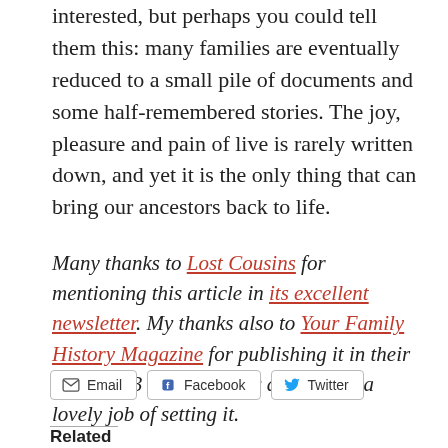interested, but perhaps you could tell them this: many families are eventually reduced to a small pile of documents and some half-remembered stories. The joy, pleasure and pain of live is rarely written down, and yet it is the only thing that can bring our ancestors back to life.
Many thanks to Lost Cousins for mentioning this article in its excellent newsletter. My thanks also to Your Family History Magazine for publishing it in their April 2013 issue, and for doing such a lovely job of setting it.
Email  Facebook  Twitter
Related